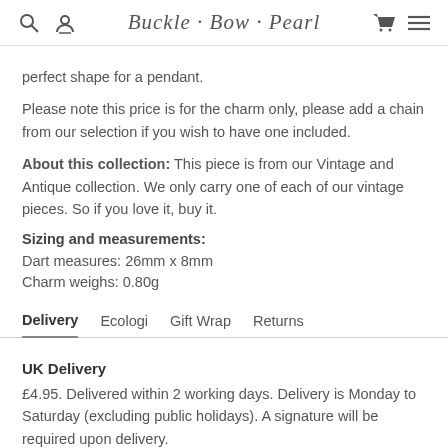Buckle · Bow · Pearl
perfect shape for a pendant.
Please note this price is for the charm only, please add a chain from our selection if you wish to have one included.
About this collection: This piece is from our Vintage and Antique collection. We only carry one of each of our vintage pieces. So if you love it, buy it.
Sizing and measurements:
Dart measures: 26mm x 8mm
Charm weighs: 0.80g
Delivery	Ecologi	Gift Wrap	Returns
UK Delivery
£4.95. Delivered within 2 working days. Delivery is Monday to Saturday (excluding public holidays). A signature will be required upon delivery.